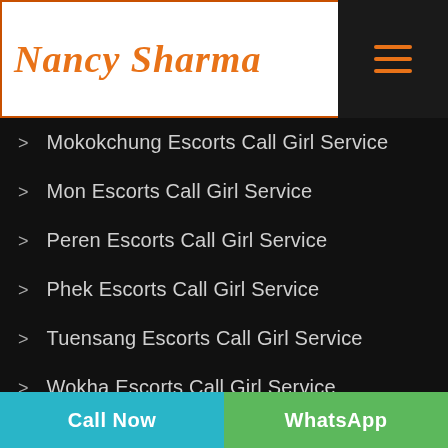Nancy Sharma
Mokokchung Escorts Call Girl Service
Mon Escorts Call Girl Service
Peren Escorts Call Girl Service
Phek Escorts Call Girl Service
Tuensang Escorts Call Girl Service
Wokha Escorts Call Girl Service
Zunheboto Escorts Call Girl Service
Angul Escorts Call Girl Service
Call Now | WhatsApp